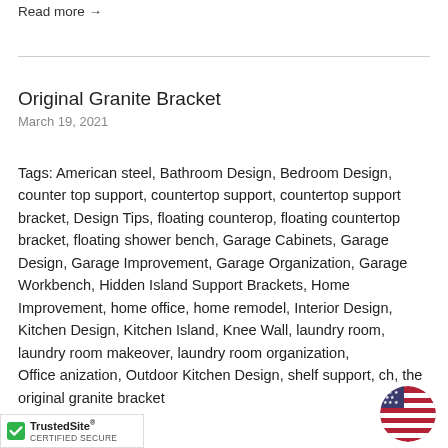Read more →
Original Granite Bracket
March 19, 2021
Tags: American steel, Bathroom Design, Bedroom Design, counter top support, countertop support, countertop support bracket, Design Tips, floating counterop, floating countertop bracket, floating shower bench, Garage Cabinets, Garage Design, Garage Improvement, Garage Organization, Garage Workbench, Hidden Island Support Brackets, Home Improvement, home office, home remodel, Interior Design, Kitchen Design, Kitchen Island, Knee Wall, laundry room, laundry room makeover, laundry room organization, Office anization, Outdoor Kitchen Design, shelf support, ch, the original granite bracket
[Figure (logo): TrustedSite certified secure badge with green checkmark]
[Figure (illustration): US flag circle badge in bottom right corner]